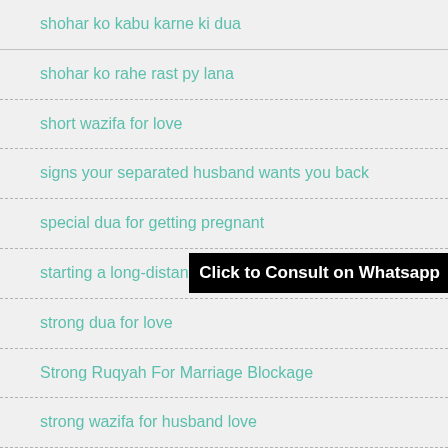shohar ko kabu karne ki dua
shohar ko rahe rast py lana
short wazifa for love
signs your separated husband wants you back
special dua for getting pregnant
starting a long-distance r...
strong dua for love
Strong Ruqyah For Marriage Blockage
strong wazifa for husband love
strong wazifa for marriage proposal